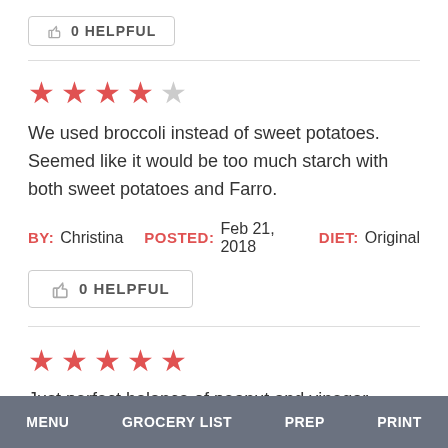0 HELPFUL
★★★★☆
We used broccoli instead of sweet potatoes. Seemed like it would be too much starch with both sweet potatoes and Farro.
BY: Christina  POSTED: Feb 21, 2018  DIET: Original
0 HELPFUL
★★★★★
Just perfect balance of peanut and vinegar.
MENU  GROCERY LIST  PREP  PRINT